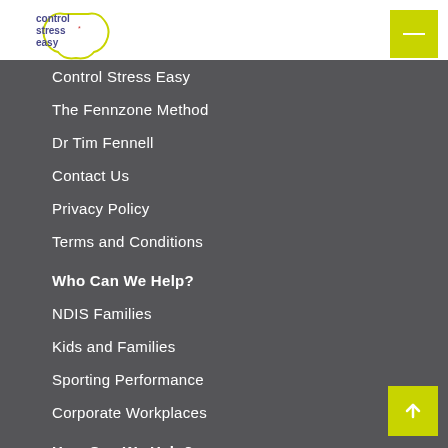[Figure (logo): Control Stress Easy logo with stylized head outline]
Control Stress Easy
The Fennzone Method
Dr Tim Fennell
Contact Us
Privacy Policy
Terms and Conditions
Who Can We Help?
NDIS Families
Kids and Families
Sporting Performance
Corporate Workplaces
How Can We Help?
Book an appointment